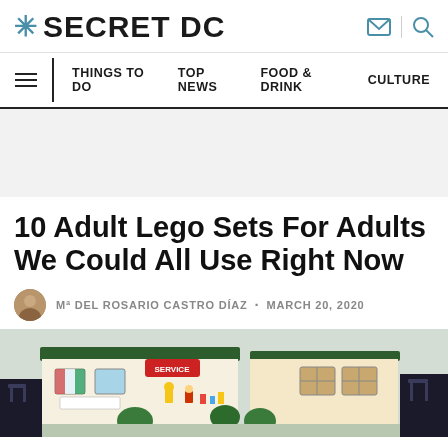SECRET DC
THINGS TO DO · TOP NEWS · FOOD & DRINK · CULTURE
10 Adult Lego Sets For Adults We Could All Use Right Now
Mª DEL ROSARIO CASTRO DÍAZ · MARCH 20, 2020
[Figure (photo): LEGO Friends-style set showing a diner/cafe building with minifigures, colorful decorations, and a SERVICE sign]